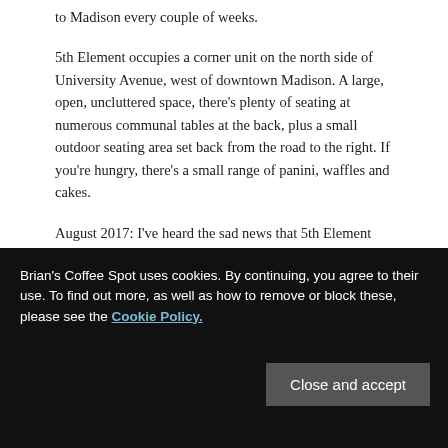to Madison every couple of weeks.
5th Element occupies a corner unit on the north side of University Avenue, west of downtown Madison. A large, open, uncluttered space, there's plenty of seating at numerous communal tables at the back, plus a small outdoor seating area set back from the road to the right. If you're hungry, there's a small range of panini, waffles and cakes.
August 2017: I've heard the sad news that 5th Element has unexpectedly had to close. Coffee shops come and go, but I've not been this disappointed to learn of a coffee
Brian's Coffee Spot uses cookies. By continuing, you agree to their use. To find out more, as well as how to remove or block these, please see the Cookie Policy.
Close and accept
Posted in Breakfast, Cafe/Roaster, Cafes, Cake, Closed,